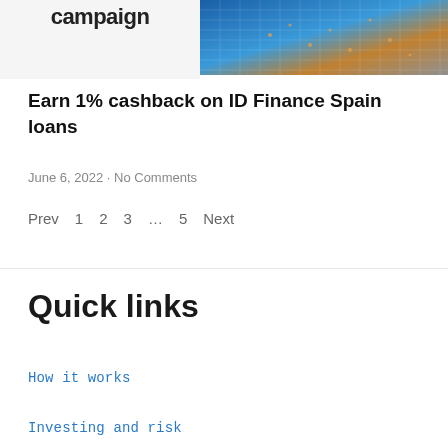[Figure (photo): Two-panel banner: left panel shows partial text 'campaign' on light gray background; right panel shows blue-toned photo of a building with a grid/mesh facade and orange lighting accents.]
Earn 1% cashback on ID Finance Spain loans
June 6, 2022 · No Comments
Prev  1  2  3  ...  5  Next
Quick links
How it works
Investing and risk